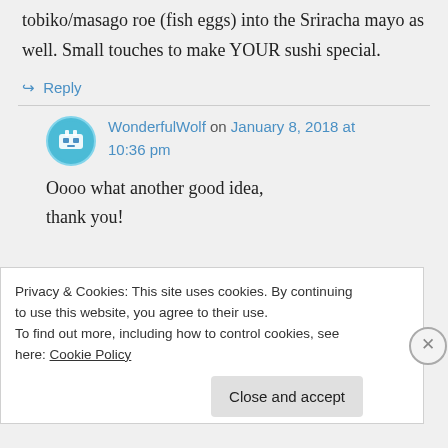tobiko/masago roe (fish eggs) into the Sriracha mayo as well. Small touches to make YOUR sushi special.
↪ Reply
WonderfulWolf on January 8, 2018 at 10:36 pm
Oooo what another good idea, thank you!
Privacy & Cookies: This site uses cookies. By continuing to use this website, you agree to their use.
To find out more, including how to control cookies, see here: Cookie Policy